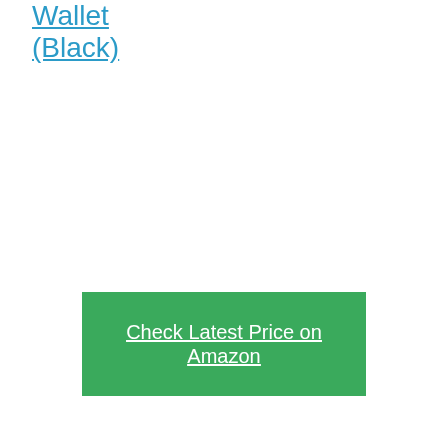Wallet (Black)
Check Latest Price on Amazon